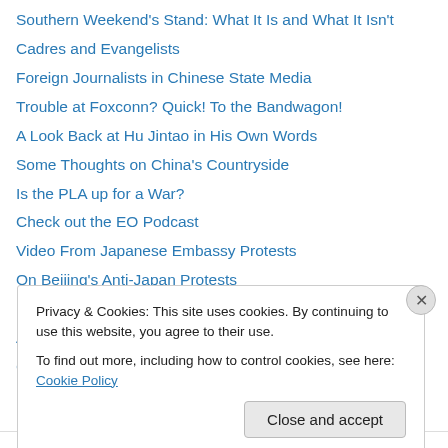Southern Weekend's Stand: What It Is and What It Isn't
Cadres and Evangelists
Foreign Journalists in Chinese State Media
Trouble at Foxconn? Quick! To the Bandwagon!
A Look Back at Hu Jintao in His Own Words
Some Thoughts on China's Countryside
Is the PLA up for a War?
Check out the EO Podcast
Video From Japanese Embassy Protests
On Beijing's Anti-Japan Protests
Behind the Great Oz's Curtain
Assigning Blame for a Hard Landing
Corruption: The Small Potatoes
Privacy & Cookies: This site uses cookies. By continuing to use this website, you agree to their use. To find out more, including how to control cookies, see here: Cookie Policy
Close and accept